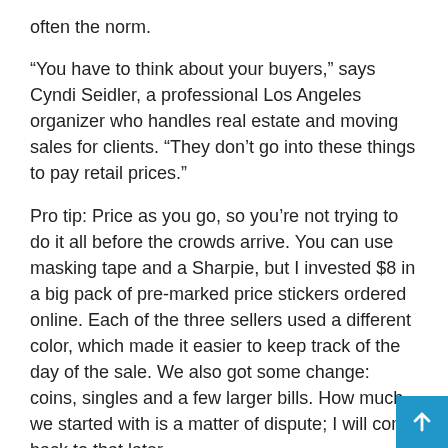often the norm.
“You have to think about your buyers,” says Cyndi Seidler, a professional Los Angeles organizer who handles real estate and moving sales for clients. “They don’t go into these things to pay retail prices.”
Pro tip: Price as you go, so you’re not trying to do it all before the crowds arrive. You can use masking tape and a Sharpie, but I invested $8 in a big pack of pre-marked price stickers ordered online. Each of the three sellers used a different color, which made it easier to keep track of the day of the sale. We also got some change: coins, singles and a few larger bills. How much we started with is a matter of dispute; I will come back to that later.
SPREAD THE WORD
Craigslist is a great place to advertise your sale for free, but it shouldn’t be the only site. That’s the mistake I made with the garage sale that failed a few years ago, with few attendees and